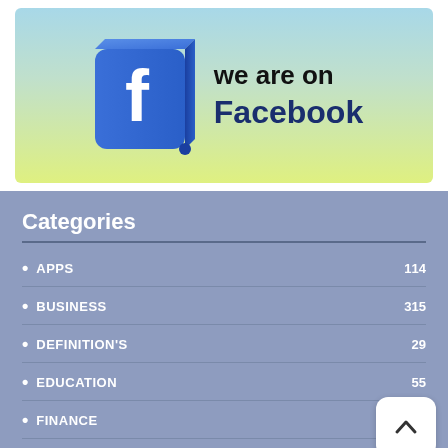[Figure (illustration): Facebook promotional banner with the Facebook 3D logo icon on the left and the text 'we are on Facebook' on the right, on a gradient blue-green-yellow background.]
Categories
APPS 114
BUSINESS 315
DEFINITION'S 29
EDUCATION 55
FINANCE
GADGETS 68